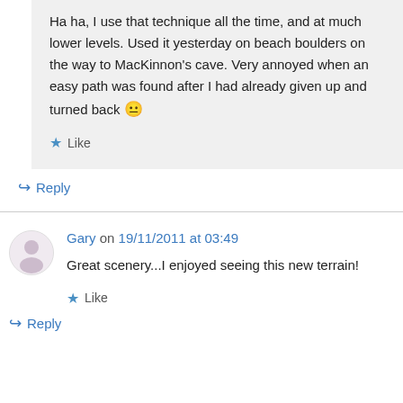Ha ha, I use that technique all the time, and at much lower levels. Used it yesterday on beach boulders on the way to MacKinnon's cave. Very annoyed when an easy path was found after I had already given up and turned back 😐
★ Like
↪ Reply
Gary on 19/11/2011 at 03:49
Great scenery...I enjoyed seeing this new terrain!
★ Like
↪ Reply